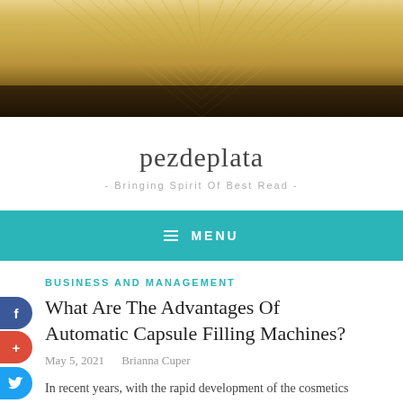[Figure (photo): Close-up of an open book showing yellowed pages fanned out, warm golden tones]
pezdeplata
- Bringing Spirit Of Best Read -
MENU
BUSINESS AND MANAGEMENT
What Are The Advantages Of Automatic Capsule Filling Machines?
May 5, 2021   Brianna Cuper
In recent years, with the rapid development of the cosmetics